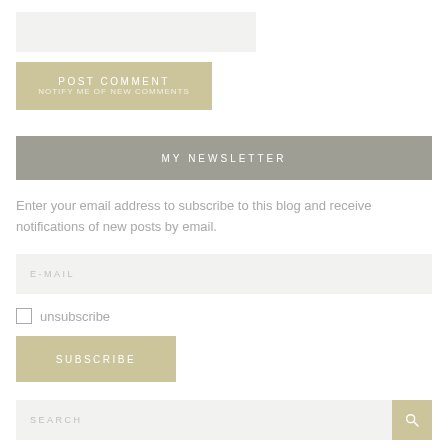[Figure (screenshot): Text input field (comment box), grayed background]
[Figure (screenshot): POST COMMENT button with tan/khaki background]
MY NEWSLETTER
Enter your email address to subscribe to this blog and receive notifications of new posts by email.
[Figure (screenshot): E-MAIL input field with light gray background]
unsubscribe
[Figure (screenshot): SUBSCRIBE button with tan/khaki background]
[Figure (screenshot): SEARCH input bar with magnifying glass icon button]